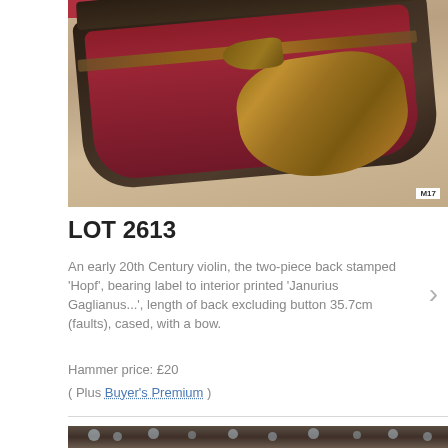[Figure (photo): Photograph of an early 20th Century violin in an open black case with red velvet interior, with a bow, on a wooden surface. A lot tag reading 'M17' or similar is visible in the bottom right corner.]
LOT 2613
An early 20th Century violin, the two-piece back stamped 'Hopf', bearing label to interior printed 'Janurius Gaglianus...', length of back excluding button 35.7cm (faults), cased, with a bow.
Hammer price: £20
( Plus Buyer's Premium )
[Figure (photo): Partial photograph of another lot, showing dark background with small glass or crystal objects visible at bottom of page.]